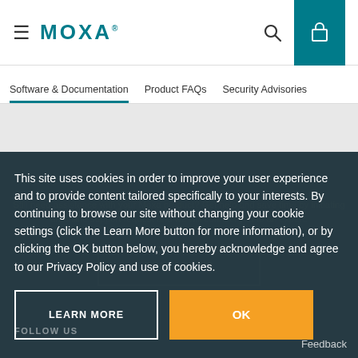≡  MOXA·
Software & Documentation   Product FAQs   Security Advisories
This site uses cookies in order to improve your user experience and to provide content tailored specifically to your interests. By continuing to browse our site without changing your cookie settings (click the Learn More button for more information), or by clicking the OK button below, you hereby acknowledge and agree to our Privacy Policy and use of cookies.
LEARN MORE
OK
FOLLOW US
Feedback